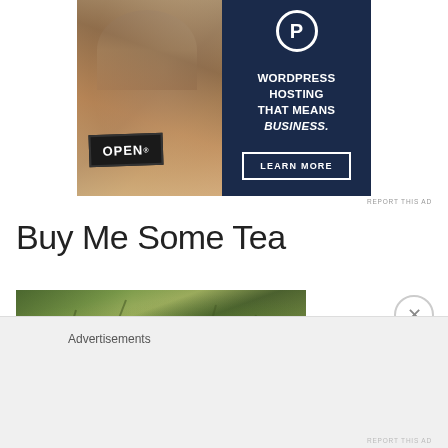[Figure (photo): Advertisement banner: left side shows a woman holding an OPEN sign, right side is dark navy with WordPress hosting text and a Learn More button]
REPORT THIS AD
Buy Me Some Tea
[Figure (photo): Blurred close-up photo of green plants/tea leaves with stems and yellow flowers]
Advertisements
REPORT THIS AD